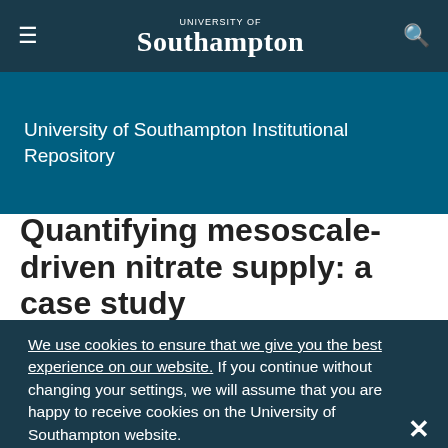University of Southampton — navigation bar with hamburger menu, logo, and search icon
University of Southampton Institutional Repository
Quantifying mesoscale-driven nitrate supply: a case study
We use cookies to ensure that we give you the best experience on our website. If you continue without changing your settings, we will assume that you are happy to receive cookies on the University of Southampton website.